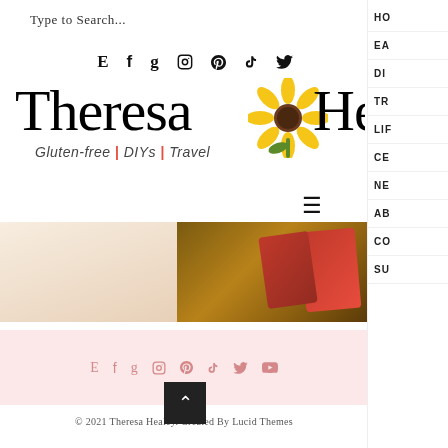Type to Search...
[Figure (screenshot): Social media icons row (E, f, g, instagram, pinterest, tiktok, twitter) in black]
[Figure (logo): Theresa Healey blog logo with sunflower illustration and tagline Gluten-free | DIYs | Travel]
[Figure (photo): Two food/product photos side by side - left shows light pink/cream background, right shows snack packages on wooden surface]
[Figure (screenshot): Pink background social media icons bar (E, f, g, instagram, pinterest, tiktok, twitter, youtube) in pink]
© 2021 Theresa Healey. Created By Lucid Themes
HO
EA
DI
TR
LIF
CE
NE
AB
CO
SU